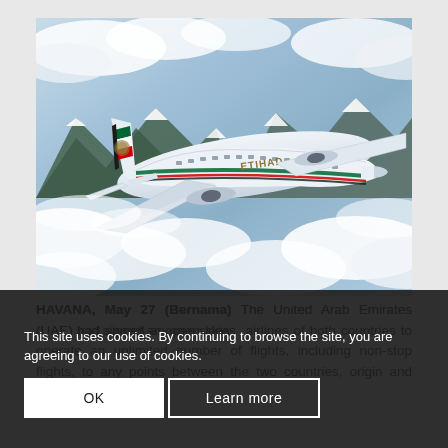[Figure (photo): An Etihad Airways large passenger aircraft (appears to be an A380) flying above mountains and clouds. The aircraft is white with the Etihad livery including green, red and black stripe on the tail and the Etihad logo on the fuselage.]
HAVANA, May 27 (Bernama) The United Arab Emirates (UAE) had signed an open skies airlines of both countries to operate an unlimited number of flights, including non-stop flights, to any points between the two countries, origin and destination.
This site uses cookies. By continuing to browse the site, you are agreeing to our use of cookies.